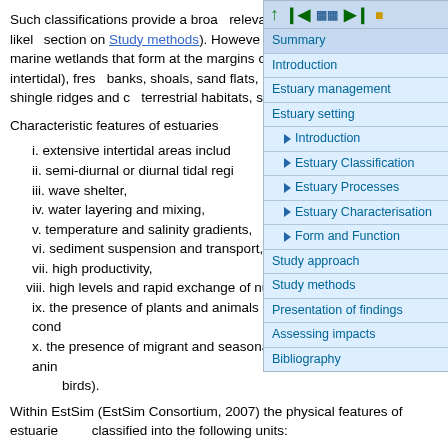Such classifications provide a broad… relevant when considering the likely… section on Study methods). However… which distinguish them from marine… wetlands that form at the margins o… marine (subtidal and intertidal), fres… banks, shoals, sand flats, mud flats … as sand-dunes, shingle ridges and c… terrestrial habitats, such as freshwa…
[Figure (screenshot): Navigation panel overlay showing a table of contents with items: Summary, Introduction, Estuary management, Estuary setting (with sub-items: Introduction, Estuary Classification, Estuary Processes, Estuary Characterisation, Form and Function), Study approach, Study methods, Presentation of findings, Assessing impacts, Bibliography. Top toolbar has navigation icons (up arrow, first/prev/next/last page, and a colored icon).]
Characteristic features of estuaries …
i. extensive intertidal areas includ…
ii. semi-diurnal or diurnal tidal regi…
iii. wave shelter,
iv. water layering and mixing,
v. temperature and salinity gradients,
vi. sediment suspension and transport,
vii. high productivity,
viii. high levels and rapid exchange of nutrients,
ix. the presence of plants and animals particularly adapted to these cond…
x. the presence of migrant and seasonally fluctuating populations of ani… birds).
Within EstSim (EstSim Consortium, 2007) the physical features of estuarie… classified into the following units:
a. Cliffs: